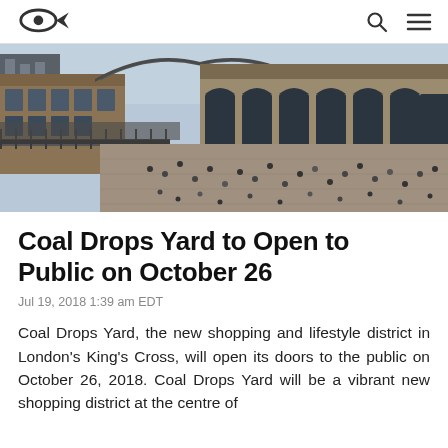Archinect logo, search icon, menu icon
[Figure (photo): Aerial/elevated view of Coal Drops Yard shopping district in London's King's Cross, showing a large courtyard surrounded by Victorian brick buildings with arched colonnades and a distinctive curved roof, filled with people.]
Coal Drops Yard to Open to Public on October 26
Jul 19, 2018 1:39 am EDT
Coal Drops Yard, the new shopping and lifestyle district in London's King's Cross, will open its doors to the public on October 26, 2018. Coal Drops Yard will be a vibrant new shopping district at the centre of